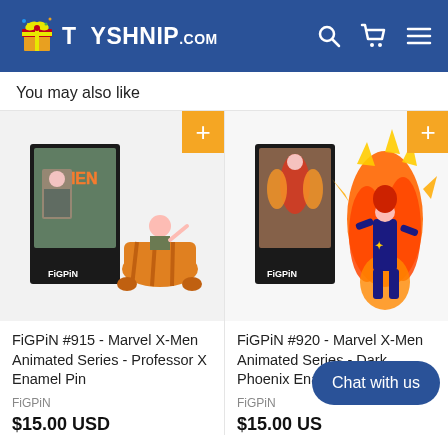TOYSHNIP.COM
You may also like
[Figure (photo): FiGPiN #915 - Marvel X-Men Animated Series - Professor X Enamel Pin product photo showing pin in packaging]
FiGPiN #915 - Marvel X-Men Animated Series - Professor X Enamel Pin
FiGPiN
$15.00 USD
[Figure (photo): FiGPiN #920 - Marvel X-Men Animated Series - Dark Phoenix Enamel Pin product photo showing pin in packaging]
FiGPiN #920 - Marvel X-Men Animated Series - Dark Phoenix  Enamel Pin
FiGPiN
$15.00 USD
[Figure (photo): Mego Action Figure partial view]
Mego A... Inch Me...
Mego
$18.50
Chat with us